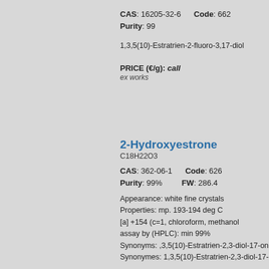CAS: 16205-32-6    Code: 662
Purity: 99
1,3,5(10)-Estratrien-2-fluoro-3,17-diol
PRICE (€/g): call
ex works
2-Hydroxyestrone
C18H22O3
CAS: 362-06-1    Code: 626
Purity: 99%    FW: 286.4
Appearance: white fine crystals
Properties: mp. 193-194 deg C
[a] +154 (c=1, chloroform, methanol
assay by (HPLC): min 99%
Synonyms: ,3,5(10)-Estratrien-2,3-diol-17-on
Synonymes: 1,3,5(10)-Estratrien-2,3-diol-17-
PRICE (€/10mg): call
ex works